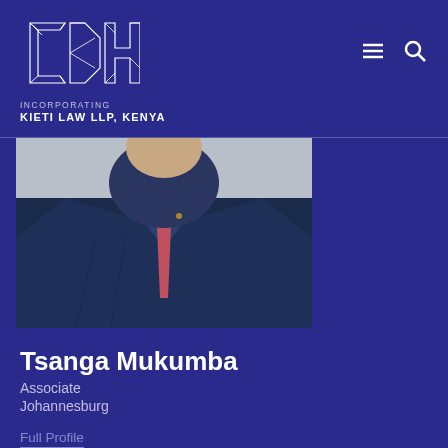[Figure (logo): CDH - Cliffe Dekker Hofmeyr geometric logo in white outline on blue background]
INCORPORATING
KIETI LAW LLP, KENYA
[Figure (photo): Professional photo of Tsanga Mukumba in a dark navy suit with red/pink tie, partial upper body view against grey background]
Tsanga Mukumba
Associate
Johannesburg
Full Profile
Related Expertise